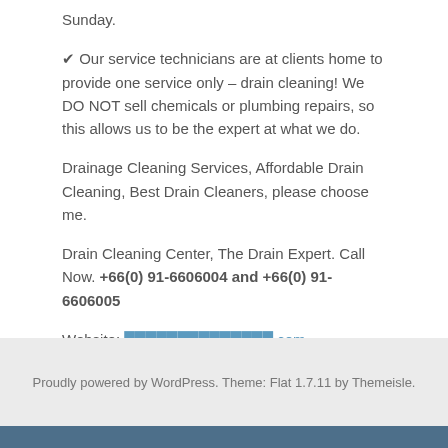Sunday.
✔ Our service technicians are at clients home to provide one service only – drain cleaning! We DO NOT sell chemicals or plumbing repairs, so this allows us to be the expert at what we do.
Drainage Cleaning Services, Affordable Drain Cleaning, Best Drain Cleaners, please choose me.
Drain Cleaning Center, The Drain Expert. Call Now. +66(0) 91-6606004 and +66(0) 91-6606005
Website: [redacted].com
Proudly powered by WordPress. Theme: Flat 1.7.11 by Themeisle.